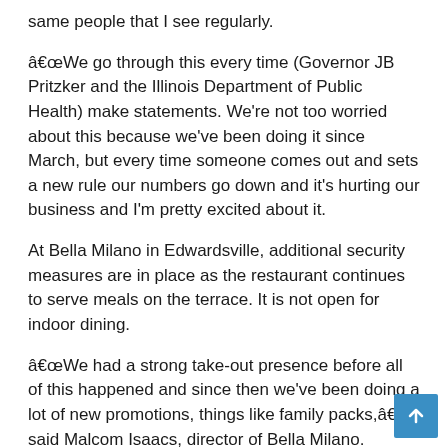same people that I see regularly.
â€œWe go through this every time (Governor JB Pritzker and the Illinois Department of Public Health) make statements. We’re not too worried about this because we’ve been doing it since March, but every time someone comes out and sets a new rule our numbers go down and it’s hurting our business and I’m pretty excited about it.
At Bella Milano in Edwardsville, additional security measures are in place as the restaurant continues to serve meals on the terrace. It is not open for indoor dining.
â€œWe had a strong take-out presence before all of this happened and since then we’ve been doing a lot of new promotions, things like family packs,â€� said Malcom Isaacs, director of Bella Milano. â€œWe wanted to stay in business and keep everyone working and we didn’t let anyone go. No one wanted to leave, so everyone kept their jobs.